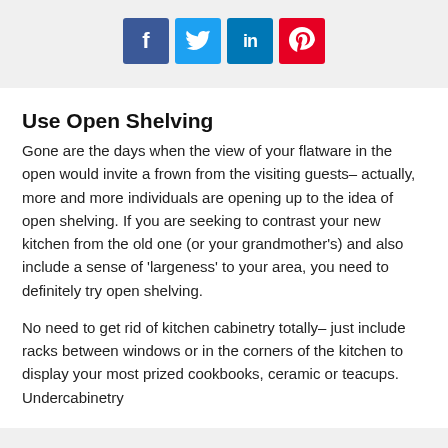[Figure (infographic): Social media share icons: Facebook (blue), Twitter (light blue), LinkedIn (dark blue), Pinterest (red)]
Use Open Shelving
Gone are the days when the view of your flatware in the open would invite a frown from the visiting guests– actually, more and more individuals are opening up to the idea of open shelving. If you are seeking to contrast your new kitchen from the old one (or your grandmother's) and also include a sense of 'largeness' to your area, you need to definitely try open shelving.
No need to get rid of kitchen cabinetry totally– just include racks between windows or in the corners of the kitchen to display your most prized cookbooks, ceramic or teacups. Undercabinetry